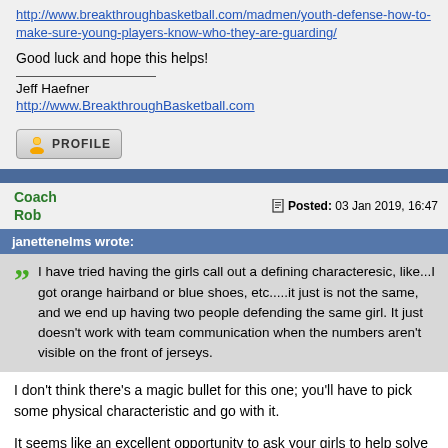http://www.breakthroughbasketball.com/madmen/youth-defense-how-to-make-sure-young-players-know-who-they-are-guarding/
Good luck and hope this helps!
Jeff Haefner
http://www.BreakthroughBasketball.com
[Figure (other): PROFILE button with user icon]
Coach Rob   Posted: 03 Jan 2019, 16:47
janettenelms wrote:
I have tried having the girls call out a defining characteresic, like...I got orange hairband or blue shoes, etc.....it just is not the same, and we end up having two people defending the same girl. It just doesn't work with team communication when the numbers aren't visible on the front of jerseys.
I don't think there's a magic bullet for this one; you'll have to pick some physical characteristic and go with it.
It seems like an excellent opportunity to ask your girls to help solve the problem. It helps them take ownership and feel like they're a working part of the team. When they come up with ideas, you work through how they'll remember to look at the shoes, hair, hands, etc. Won't be perfect, but you'll